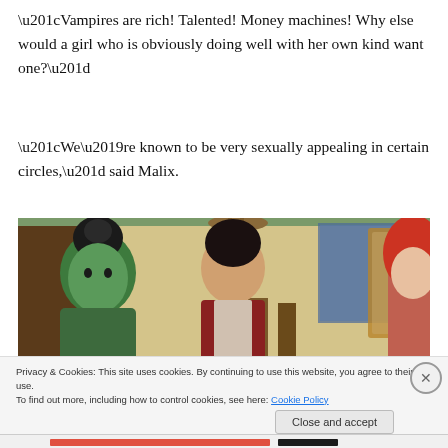“Vampires are rich! Talented! Money machines!  Why else would a girl who is obviously doing well with her own kind want one?”
“We’re known to be very sexually appealing in certain circles,” said Malix.
[Figure (screenshot): Screenshot from a video game (The Sims) showing three characters in a room: a green-skinned character with dark hair on the left, a male character with dark hair in the center, and a red-haired character on the right. The room has wooden furnishings and a window.]
Privacy & Cookies: This site uses cookies. By continuing to use this website, you agree to their use.
To find out more, including how to control cookies, see here: Cookie Policy
Close and accept